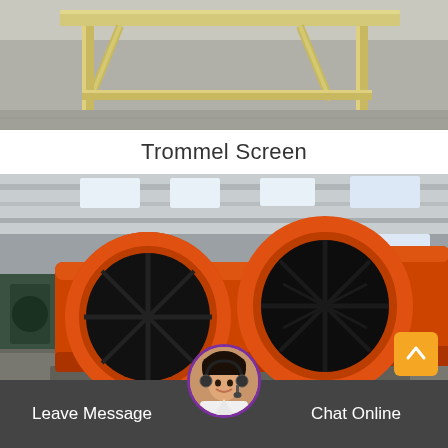[Figure (photo): Top photo showing yellow/beige metal frame structure on a concrete floor in an industrial workshop]
Trommel Screen
[Figure (photo): Photo of two large orange cylindrical trommel drum screens with black interiors, positioned in an industrial warehouse/factory setting]
Leave Message
Chat Online